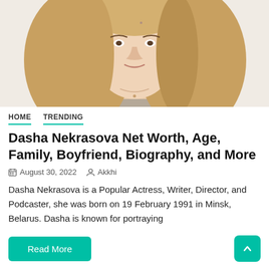[Figure (photo): Portrait photo of a blonde woman with long hair wearing a beige/khaki top, cropped to show face, neck and shoulders, light background]
HOME   TRENDING
Dasha Nekrasova Net Worth, Age, Family, Boyfriend, Biography, and More
August 30, 2022   Akkhi
Dasha Nekrasova is a Popular Actress, Writer, Director, and Podcaster, she was born on 19 February 1991 in Minsk, Belarus. Dasha is known for portraying
Read More